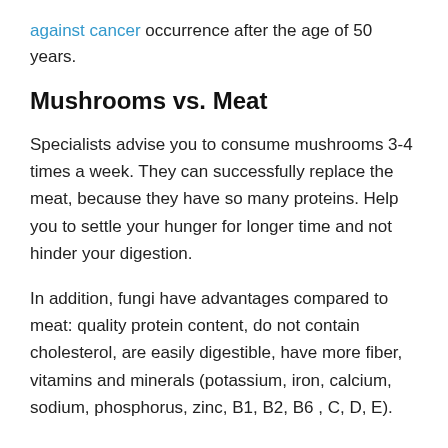against cancer occurrence after the age of 50 years.
Mushrooms vs. Meat
Specialists advise you to consume mushrooms 3-4 times a week. They can successfully replace the meat, because they have so many proteins. Help you to settle your hunger for longer time and not hinder your digestion.
In addition, fungi have advantages compared to meat: quality protein content, do not contain cholesterol, are easily digestible, have more fiber, vitamins and minerals (potassium, iron, calcium, sodium, phosphorus, zinc, B1, B2, B6 , C, D, E).